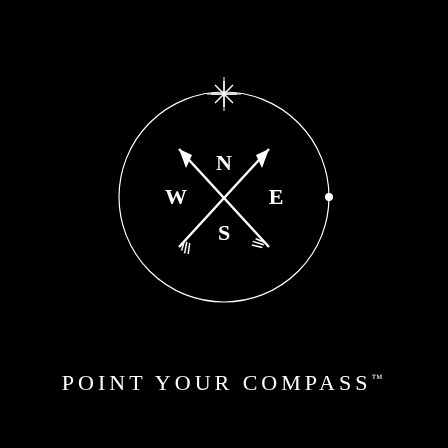[Figure (logo): A circular compass rose logo with a crescent moon on the left side, a star burst at the top, a small crescent moon at the bottom, a small dot on the right, and crossed arrows in the center with N at top, S at bottom, W at left, E at right, all in white on a black background.]
POINT YOUR COMPASS™